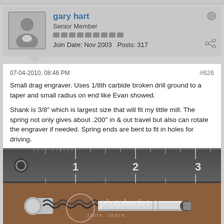gary hart
Senior Member
Join Date: Nov 2003   Posts: 317
07-04-2010, 08:46 PM
#626
Small drag engraver. Uses 1/8th carbide broken drill ground to a taper and small radius on end like Evan showed.
Shank is 3/8" which is largest size that will fit my little mill. The spring not only gives about .200" in & out travel but also can rotate the engraver if needed. Spring ends are bent to fit in holes for driving.
[Figure (photo): Photograph of a small drag engraver tool with a coil spring, shown next to a metal ruler marked at 1, 2, and 3 inches. The tool has a cylindrical metal shank with a spring-loaded tip. A Photobucket watermark is visible on the image.]